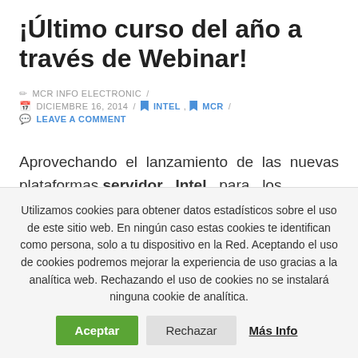¡Último curso del año a través de Webinar!
MCR INFO ELECTRONIC / DICIEMBRE 16, 2014 / INTEL, MCR / LEAVE A COMMENT
Aprovechando el lanzamiento de las nuevas plataformas servidor Intel para los
Utilizamos cookies para obtener datos estadísticos sobre el uso de este sitio web. En ningún caso estas cookies te identifican como persona, solo a tu dispositivo en la Red. Aceptando el uso de cookies podremos mejorar la experiencia de uso gracias a la analítica web. Rechazando el uso de cookies no se instalará ninguna cookie de analítica.